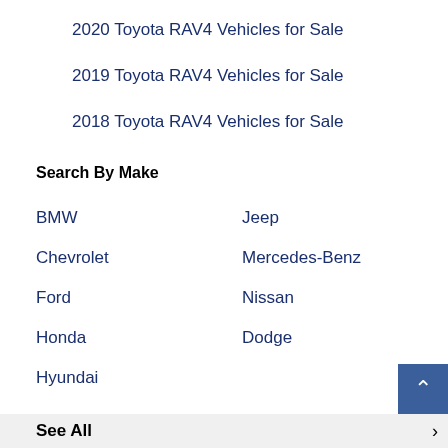2020 Toyota RAV4 Vehicles for Sale
2019 Toyota RAV4 Vehicles for Sale
2018 Toyota RAV4 Vehicles for Sale
Search By Make
BMW
Jeep
Chevrolet
Mercedes-Benz
Ford
Nissan
Honda
Dodge
Hyundai
See All